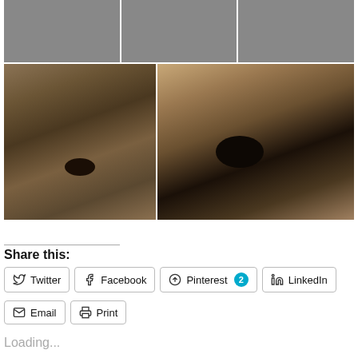[Figure (photo): Top row of three photos: a fluffy grey/white texture, a dark red/maroon stage scene, and a colorful crowd scene]
[Figure (photo): Two large close-up photos of a shaggy dog's face and nose]
Share this:
Twitter
Facebook
Pinterest 2
LinkedIn
Email
Print
Loading...